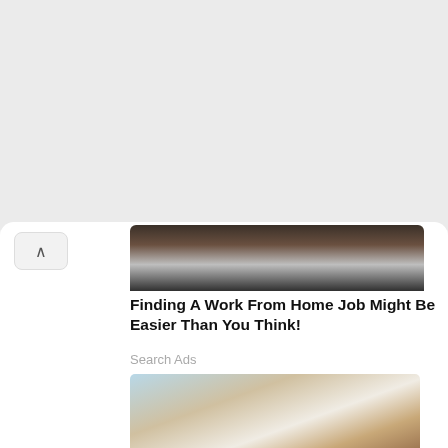[Figure (screenshot): Top banner ad with FAIL text and cartoon emoji face on orange/yellow fire background, with STA text in top right]
[Figure (photo): Partial photo showing dark hair/arm area, top portion of work-from-home ad image]
Finding A Work From Home Job Might Be Easier Than You Think!
Search Ads
[Figure (photo): Woman with long brown hair in white shirt and light blue skirt lying on bed using laptop computer, with lamp on nightstand in background]
Work-From-Home US Jobs May Pay You More Than You Think
Search Ads